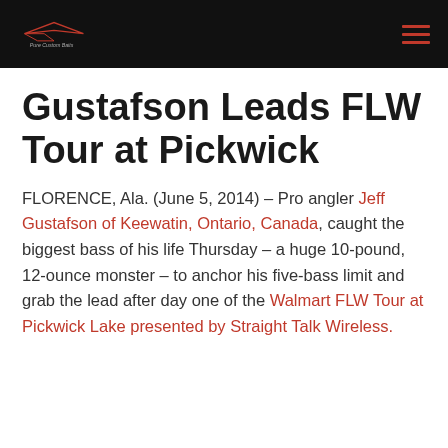Pure Custom Baits [logo] [hamburger menu]
Gustafson Leads FLW Tour at Pickwick
FLORENCE, Ala. (June 5, 2014) – Pro angler Jeff Gustafson of Keewatin, Ontario, Canada, caught the biggest bass of his life Thursday – a huge 10-pound, 12-ounce monster – to anchor his five-bass limit and grab the lead after day one of the Walmart FLW Tour at Pickwick Lake presented by Straight Talk Wireless.